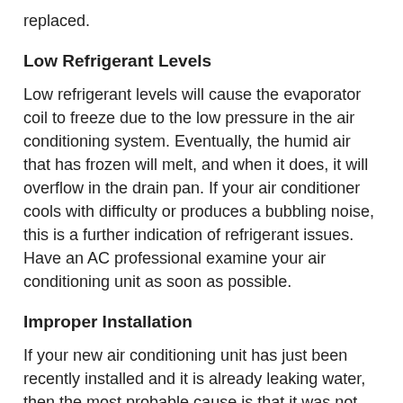replaced.
Low Refrigerant Levels
Low refrigerant levels will cause the evaporator coil to freeze due to the low pressure in the air conditioning system. Eventually, the humid air that has frozen will melt, and when it does, it will overflow in the drain pan. If your air conditioner cools with difficulty or produces a bubbling noise, this is a further indication of refrigerant issues.  Have an AC professional examine your air conditioning unit as soon as possible.
Improper Installation
If your new air conditioning unit has just been recently installed and it is already leaking water, then the most probable cause is that it was not installed correctly. Consult an AC installation and repair expert to have the unit installed appropriately.
We hope that you've found the information within this blog